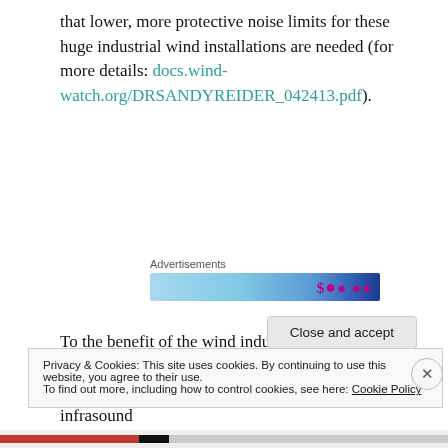that lower, more protective noise limits for these huge industrial wind installations are needed (for more details: docs.wind-watch.org/DRSANDYREIDER_042413.pdf).
[Figure (screenshot): Advertisements banner with colorful background showing a price tag with dollar signs and numbers]
To the benefit of the wind industry, and apparently to those agencies promoting large wind installations on our ridgelines here in Vermont, the issue of infrasound
Privacy & Cookies: This site uses cookies. By continuing to use this website, you agree to their use.
To find out more, including how to control cookies, see here: Cookie Policy
Close and accept